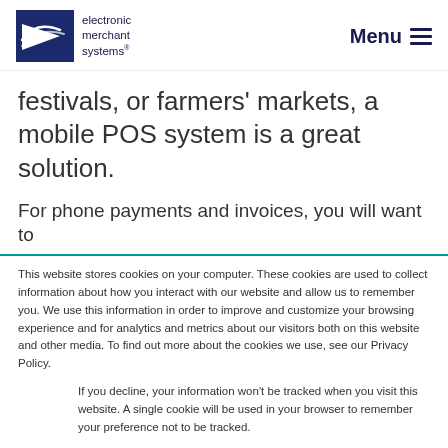electronic merchant systems | Menu
festivals, or farmers' markets, a mobile POS system is a great solution.
For phone payments and invoices, you will want to
This website stores cookies on your computer. These cookies are used to collect information about how you interact with our website and allow us to remember you. We use this information in order to improve and customize your browsing experience and for analytics and metrics about our visitors both on this website and other media. To find out more about the cookies we use, see our Privacy Policy.
If you decline, your information won't be tracked when you visit this website. A single cookie will be used in your browser to remember your preference not to be tracked.
Accept | Decline